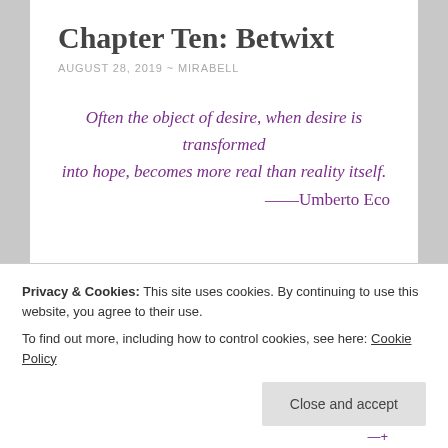Chapter Ten: Betwixt
AUGUST 28, 2019 ~ MIRABELL
Often the object of desire, when desire is transformed into hope, becomes more real than reality itself. ——Umberto Eco
Privacy & Cookies: This site uses cookies. By continuing to use this website, you agree to their use.
To find out more, including how to control cookies, see here: Cookie Policy